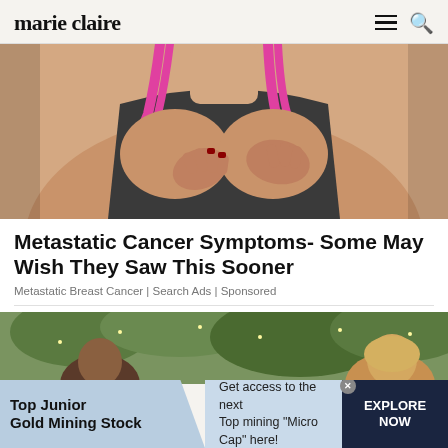marie claire
[Figure (photo): Woman in dark grey and pink sports bra touching her chest/breast area with both hands, suggesting pain or discomfort]
Metastatic Cancer Symptoms- Some May Wish They Saw This Sooner
Metastatic Breast Cancer | Search Ads | Sponsored
[Figure (photo): Partial view of people outdoors with green foliage in background — second article thumbnail]
Top Junior Gold Mining Stock  Get access to the next Top mining "Micro Cap" here!  EXPLORE NOW